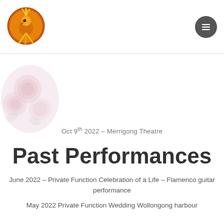[Figure (logo): Colorful bird logo with orange and yellow feathers on a circular background]
[Figure (illustration): Faded/watermark pink roses bouquet in background]
Oct 9th 2022 – Merrigong Theatre
Past Performances
June 2022 – Private Function Celebration of a Life – Flamenco guitar performance
May 2022 Private Function Wedding Wollongong harbour